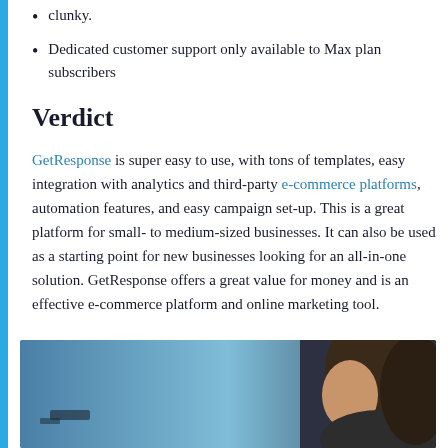clunky.
Dedicated customer support only available to Max plan subscribers
Verdict
GetResponse is super easy to use, with tons of templates, easy integration with analytics and third-party e-commerce platforms, automation features, and easy campaign set-up. This is a great platform for small- to medium-sized businesses. It can also be used as a starting point for new businesses looking for an all-in-one solution. GetResponse offers a great value for money and is an effective e-commerce platform and online marketing tool.
[Figure (photo): Photo of a woman, partially visible, with blurred background in blue/gray tones, cropped at bottom of page.]